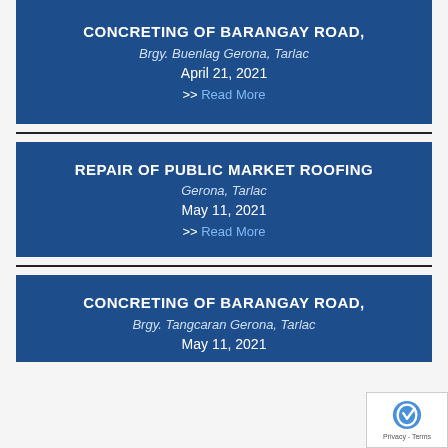CONCRETING OF BARANGAY ROAD, Brgy. Buenlag Gerona, Tarlac
April 21, 2021
>> Read More
REPAIR OF PUBLIC MARKET ROOFING Gerona, Tarlac
May 11, 2021
>> Read More
CONCRETING OF BARANGAY ROAD, Brgy. Tangcaran Gerona, Tarlac
May 11, 2021